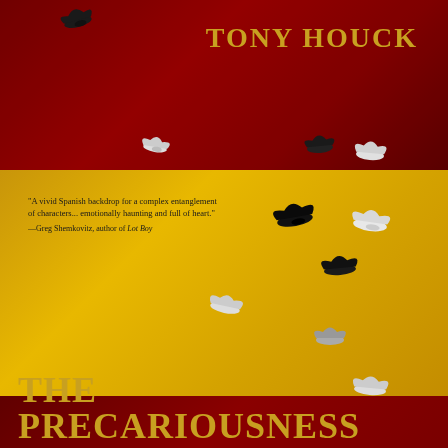[Figure (illustration): Book cover for 'The Precariousness' by Tony Houck. Red and yellow background resembling the Spanish flag. Multiple birds (pigeons/doves in black and white) flying in a diagonal swoop pattern from upper left to lower right. Red band at top, large golden-yellow band in middle, deep red band at bottom.]
TONY HOUCK
"A vivid Spanish backdrop for a complex entanglement of characters... emotionally haunting and full of heart."
—Greg Shemkovitz, author of Lot Boy
THE PRECARIOUSNESS